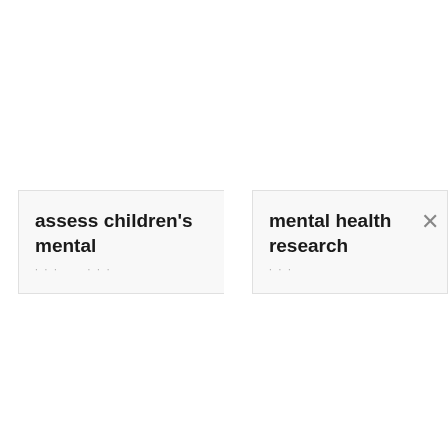[Figure (screenshot): A screenshot showing two search/filter tag cards side by side. Left card contains the text 'assess children’s mental' with ellipsis dots below. Right card contains the text 'mental health research' with ellipsis dots below and a close (X) button on the right side.]